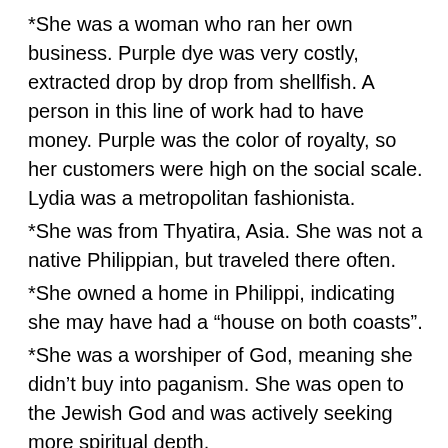*She was a woman who ran her own business. Purple dye was very costly, extracted drop by drop from shellfish. A person in this line of work had to have money. Purple was the color of royalty, so her customers were high on the social scale. Lydia was a metropolitan fashionista.
*She was from Thyatira, Asia. She was not a native Philippian, but traveled there often.
*She owned a home in Philippi, indicating she may have had a “house on both coasts”.
*She was a worshiper of God, meaning she didn’t buy into paganism. She was open to the Jewish God and was actively seeking more spiritual depth.
*She gathered her girlfriends together to pray by the river outside of town. This is significant because it shows there was not a Jewish synagogue in Philippi. A Jewish place of worship required ten Jewish men, which Philippi obviously